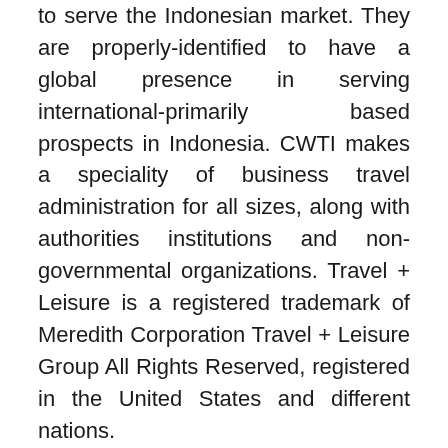to serve the Indonesian market. They are properly-identified to have a global presence in serving international-primarily based prospects in Indonesia. CWTI makes a speciality of business travel administration for all sizes, along with authorities institutions and non-governmental organizations. Travel + Leisure is a registered trademark of Meredith Corporation Travel + Leisure Group All Rights Reserved, registered in the United States and different nations.
In order to give the client need they want, first they must get to know them. Barthelmes, 54, takes the publisher's job vacated in May when